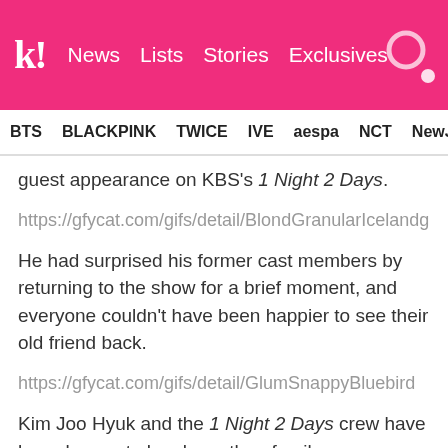k! News  Lists  Stories  Exclusives
BTS  BLACKPINK  TWICE  IVE  aespa  NCT  NewJ
guest appearance on KBS's 1 Night 2 Days.
https://gfycat.com/gifs/detail/BlondGranularIcelandg
He had surprised his former cast members by returning to the show for a brief moment, and everyone couldn't have been happier to see their old friend back.
https://gfycat.com/gifs/detail/GlumSnappyBluebird
Kim Joo Hyuk and the 1 Night 2 Days crew have been known to be closer than family.